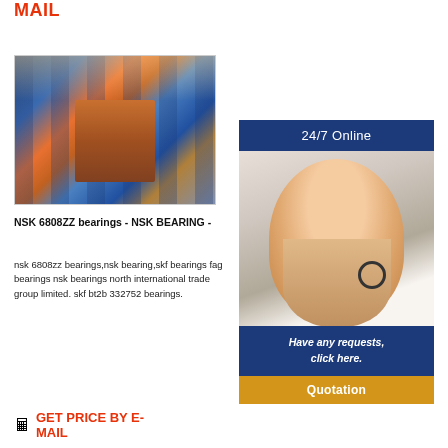MAIL
[Figure (photo): Warehouse interior with industrial shelving units stocked with blue boxes and bearings inventory]
NSK 6808ZZ bearings - NSK BEARING -
nsk 6808zz bearings,nsk bearing,skf bearings fag bearings nsk bearings north international trade group limited. skf bt2b 332752 bearings.
[Figure (photo): 24/7 Online customer service agent (woman with headset) with 'Have any requests, click here.' text and Quotation button]
GET PRICE BY E-MAIL